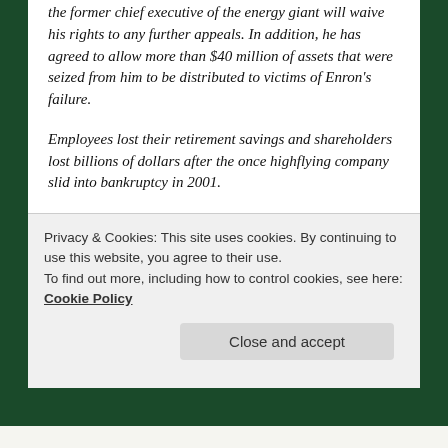the former chief executive of the energy giant will waive his rights to any further appeals. In addition, he has agreed to allow more than $40 million of assets that were seized from him to be distributed to victims of Enron's failure.
Employees lost their retirement savings and shareholders lost billions of dollars after the once highflying company slid into bankruptcy in 2001.
Under federal prison rules, Mr. Skilling — who had been sentenced to 24 years and 4 months — could leave prison as soon as 2017.
Somehow I am doubting that this deal will be
Privacy & Cookies: This site uses cookies. By continuing to use this website, you agree to their use.
To find out more, including how to control cookies, see here: Cookie Policy
Close and accept